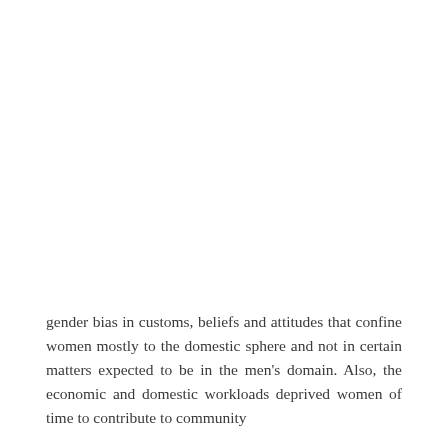gender bias in customs, beliefs and attitudes that confine women mostly to the domestic sphere and not in certain matters expected to be in the men's domain. Also, the economic and domestic workloads deprived women of time to contribute to community